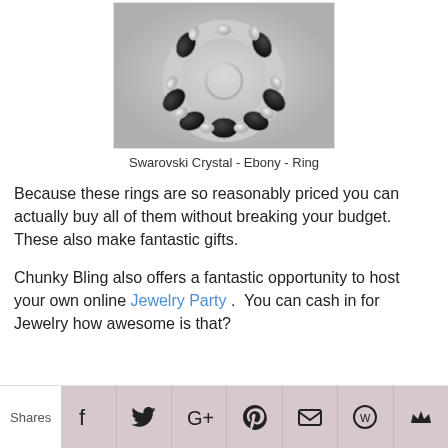[Figure (photo): Swarovski Crystal Ebony Ring — a silver-toned ring with large black faceted crystals and small clear rhinestones set around the band, photographed on a light grey background.]
Swarovski Crystal - Ebony - Ring
Because these rings are so reasonably priced you can actually buy all of them without breaking your budget.  These also make fantastic gifts.
Chunky Bling also offers a fantastic opportunity to host your own online Jewelry Party .  You can cash in for Jewelry how awesome is that?
Shares